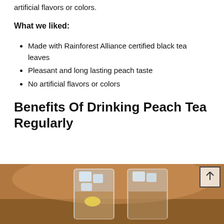artificial flavors or colors.
What we liked:
Made with Rainforest Alliance certified black tea leaves
Pleasant and long lasting peach taste
No artificial flavors or colors
Benefits Of Drinking Peach Tea Regularly
[Figure (photo): Two glasses of iced peach tea with ice cubes and lemon slices on a wooden surface]